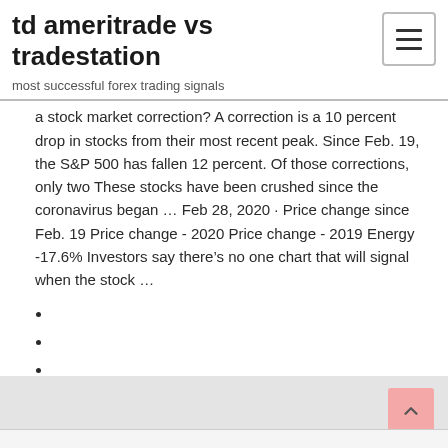td ameritrade vs tradestation
most successful forex trading signals
a stock market correction? A correction is a 10 percent drop in stocks from their most recent peak. Since Feb. 19, the S&P 500 has fallen 12 percent. Of those corrections, only two These stocks have been crushed since the coronavirus began … Feb 28, 2020 · Price change since Feb. 19 Price change - 2020 Price change - 2019 Energy -17.6% Investors say there's no one chart that will signal when the stock …